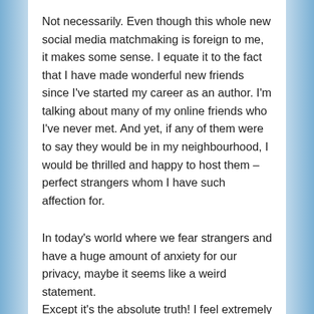Not necessarily. Even though this whole new social media matchmaking is foreign to me, it makes some sense. I equate it to the fact that I have made wonderful new friends since I've started my career as an author. I'm talking about many of my online friends who I've never met. And yet, if any of them were to say they would be in my neighbourhood, I would be thrilled and happy to host them – perfect strangers whom I have such affection for.
In today's world where we fear strangers and have a huge amount of anxiety for our privacy, maybe it seems like a weird statement. Except it's the absolute truth! I feel extremely close to many